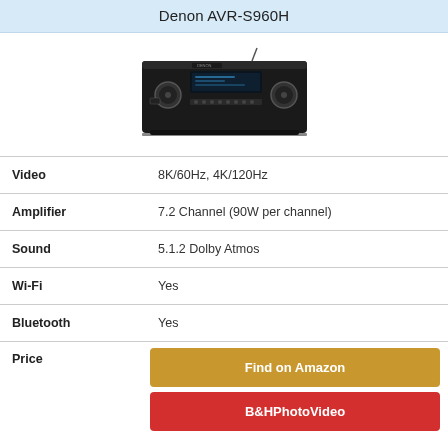Denon AVR-S960H
[Figure (photo): Photo of Denon AVR-S960H AV receiver, black unit with knobs and display panel]
| Feature | Detail |
| --- | --- |
| Video | 8K/60Hz, 4K/120Hz |
| Amplifier | 7.2 Channel (90W per channel) |
| Sound | 5.1.2 Dolby Atmos |
| Wi-Fi | Yes |
| Bluetooth | Yes |
| Price | Find on Amazon | B&HPhotoVideo |